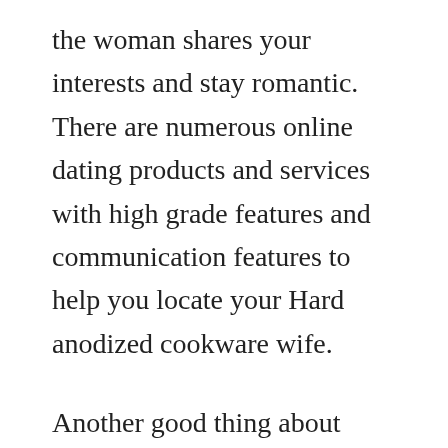the woman shares your interests and stay romantic. There are numerous online dating products and services with high grade features and communication features to help you locate your Hard anodized cookware wife.
Another good thing about over the internet Hard anodized cookware dating sites is they offer a a comprehensive portfolio of Asian - mail order brides. You just need to know best places to look, and where to glance. You'll be